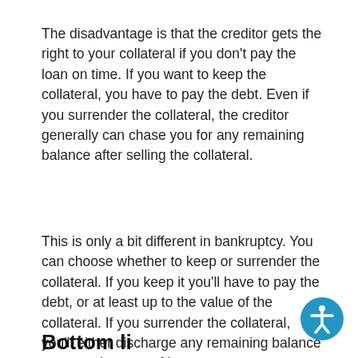The disadvantage is that the creditor gets the right to your collateral if you don't pay the loan on time. If you want to keep the collateral, you have to pay the debt. Even if you surrender the collateral, the creditor generally can chase you for any remaining balance after selling the collateral.
This is only a bit different in bankruptcy. You can choose whether to keep or surrender the collateral. If you keep it you'll have to pay the debt, or at least up to the value of the collateral. If you surrender the collateral, you'll either discharge any remaining balance or pay only some of it.
Bottom li...